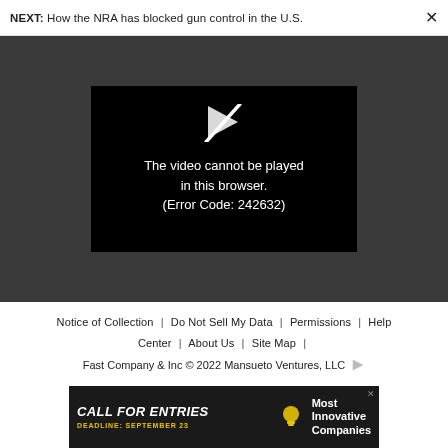NEXT: How the NRA has blocked gun control in the U.S.
[Figure (screenshot): Black video player box showing error message: 'The video cannot be played in this browser. (Error Code: 242632)' with a broken play icon in white]
Notice of Collection | Do Not Sell My Data | Permissions | Help Center | About Us | Site Map | Fast Company & Inc © 2022 Mansueto Ventures, LLC
[Figure (photo): Advertisement banner: 'CALL FOR ENTRIES DEADLINE: SEPTEMBER 23 Most Innovative Companies' on dark background]